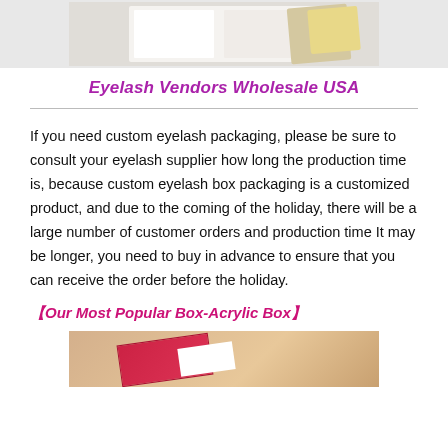[Figure (photo): Top portion of an eyelash product packaging photo, partially cropped at the top of the page]
Eyelash Vendors Wholesale USA
If you need custom eyelash packaging, please be sure to consult your eyelash supplier how long the production time is, because custom eyelash box packaging is a customized product, and due to the coming of the holiday, there will be a large number of customer orders and production time It may be longer, you need to buy in advance to ensure that you can receive the order before the holiday.
【Our Most Popular Box-Acrylic Box】
[Figure (photo): Bottom portion of page showing an acrylic eyelash box in red/pink on a tan/beige background, partially cropped]